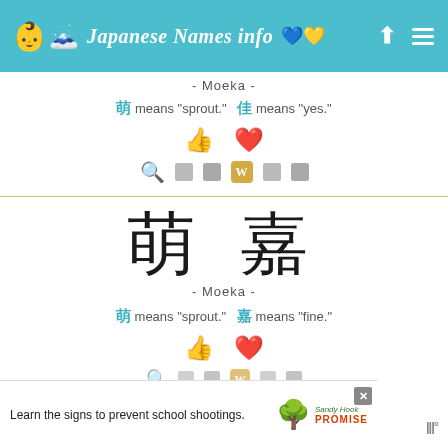Japanese Names info
- Moeka -
萌 means "sprout."  佳 means "yes."
- Moeka -
萌嘉
- Moeka -
萌 means "sprout."  嘉 means "fine."
Learn the signs to prevent school shootings. Sandy Hook Promise